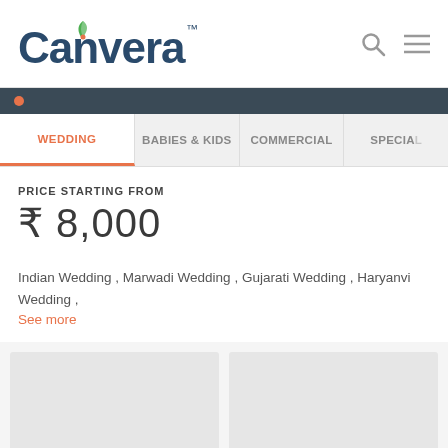[Figure (logo): Canvera logo with leaf icon above the V, dark blue text, TM superscript]
Canvera™
WEDDING | BABIES & KIDS | COMMERCIAL | SPECIAL
PRICE STARTING FROM
₹ 8,000
Indian Wedding , Marwadi Wedding , Gujarati Wedding , Haryanvi Wedding ,
See more
[Figure (photo): Gray placeholder image card 1]
[Figure (photo): Gray placeholder image card 2]